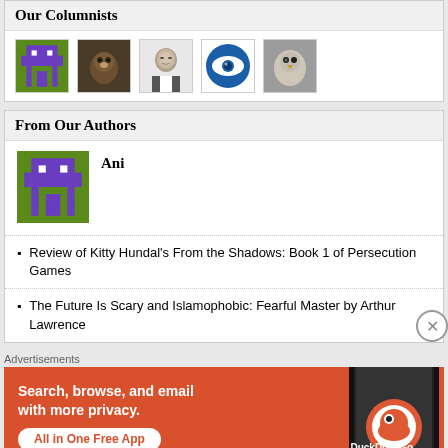Our Columnists
[Figure (photo): Row of five columnist avatar thumbnails: pixel art robot (green/purple), a monkey/animal photo, a man in suit (grayscale), a blue eye icon, and a bird/animal photo]
From Our Authors
[Figure (photo): Large pixel art avatar of green and purple robot character]
Ani
Review of Kitty Hundal's From the Shadows: Book 1 of Persecution Games
The Future Is Scary and Islamophobic: Fearful Master by Arthur Lawrence
Advertisements
[Figure (screenshot): DuckDuckGo advertisement: orange background with text 'Search, browse, and email with more privacy. All in One Free App' and a phone with DuckDuckGo logo]